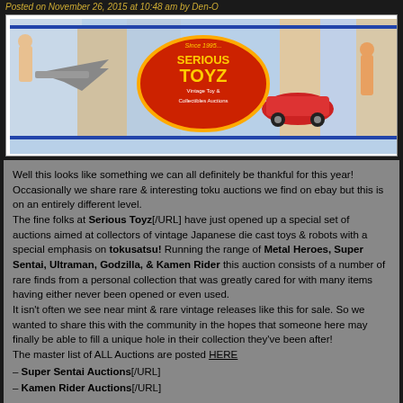Posted on November 26, 2015 at 10:48 am by Den-O
[Figure (logo): Serious Toyz Vintage Toy & Collectibles Auctions banner with navigation bar showing Home, Auctions, My Account, Auction Results, Registration, Contact Us, About Us]
Well this looks like something we can all definitely be thankful for this year! Occasionally we share rare & interesting toku auctions we find on ebay but this is on an entirely different level.
The fine folks at Serious Toyz[/URL] have just opened up a special set of auctions aimed at collectors of vintage Japanese die cast toys & robots with a special emphasis on tokusatsu! Running the range of Metal Heroes, Super Sentai, Ultraman, Godzilla, & Kamen Rider this auction consists of a number of rare finds from a personal collection that was greatly cared for with many items having either never been opened or even used.
It isn't often we see near mint & rare vintage releases like this for sale. So we wanted to share this with the community in the hopes that someone here may finally be able to fill a unique hole in their collection they've been after!
The master list of ALL Auctions are posted HERE
– Super Sentai Auctions[/URL]
– Kamen Rider Auctions[/URL]